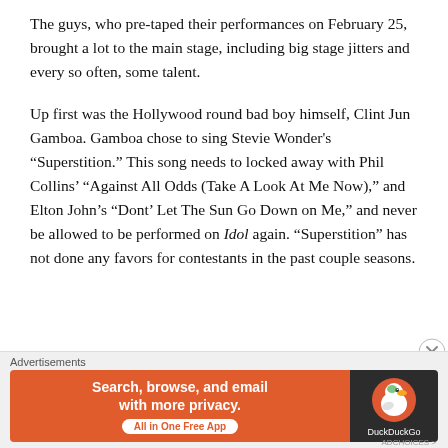The guys, who pre-taped their performances on February 25, brought a lot to the main stage, including big stage jitters and every so often, some talent.
Up first was the Hollywood round bad boy himself, Clint Jun Gamboa. Gamboa chose to sing Stevie Wonder's “Superstition.” This song needs to locked away with Phil Collins’ “Against All Odds (Take A Look At Me Now),” and Elton John’s “Dont’ Let The Sun Go Down on Me,” and never be allowed to be performed on Idol again. “Superstition” has not done any favors for contestants in the past couple seasons.
[Figure (other): DuckDuckGo advertisement banner: orange section with text 'Search, browse, and email with more privacy. All in One Free App' and dark section with DuckDuckGo duck logo and brand name.]